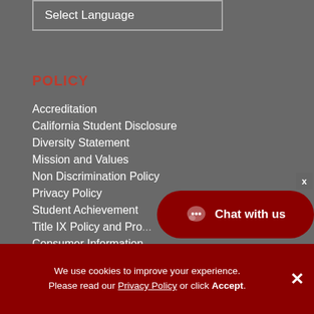Select Language
POLICY
Accreditation
California Student Disclosure
Diversity Statement
Mission and Values
Non Discrimination Policy
Privacy Policy
Student Achievement
Title IX Policy and Pro...
Consumer Information...
Section 508 Rehabilitation Act
Chat with us
We use cookies to improve your experience. Please read our Privacy Policy or click Accept.